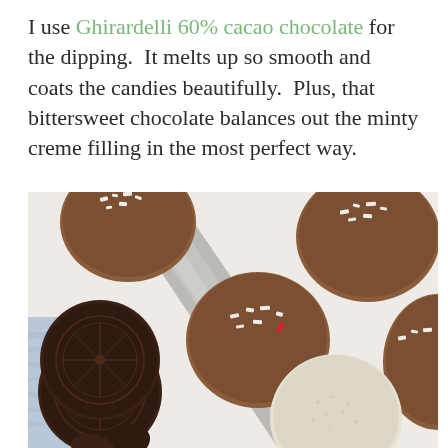I use Ghirardelli 60% cacao chocolate for the dipping.  It melts up so smooth and coats the candies beautifully.  Plus, that bittersweet chocolate balances out the minty creme filling in the most perfect way.
[Figure (photo): Overhead photo of chocolate-dipped Oreo cookies topped with crushed candy cane pieces arranged on white parchment paper on a baking tray, with an undipped Oreo cookie and a half-eaten Oreo on the left side on a blue cloth, and one white-chocolate-dipped Oreo at the bottom right.]